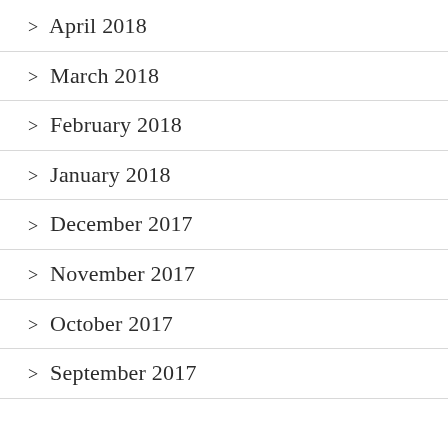> April 2018
> March 2018
> February 2018
> January 2018
> December 2017
> November 2017
> October 2017
> September 2017